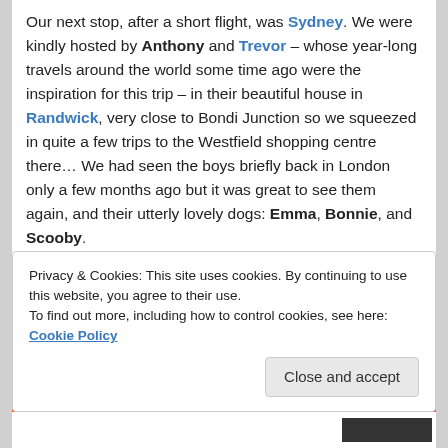Our next stop, after a short flight, was Sydney. We were kindly hosted by Anthony and Trevor – whose year-long travels around the world some time ago were the inspiration for this trip – in their beautiful house in Randwick, very close to Bondi Junction so we squeezed in quite a few trips to the Westfield shopping centre there… We had seen the boys briefly back in London only a few months ago but it was great to see them again, and their utterly lovely dogs: Emma, Bonnie, and Scooby.
Fortunately, our stay coincided with a three-day weekend because of Australia Day, and we were able to see and catch up with the rest of our friends in Sydney, including our also adventurous housemate Luke, who also
Privacy & Cookies: This site uses cookies. By continuing to use this website, you agree to their use.
To find out more, including how to control cookies, see here: Cookie Policy
Close and accept